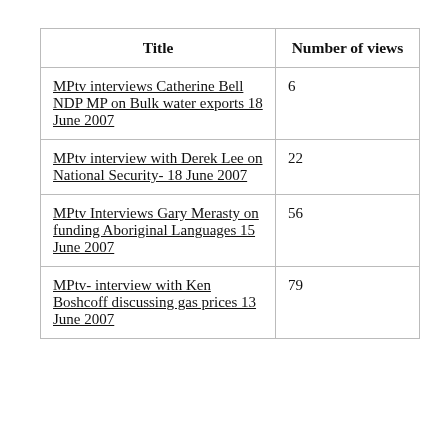| Title | Number of views |
| --- | --- |
| MPtv interviews Catherine Bell NDP MP on Bulk water exports 18 June 2007 | 6 |
| MPtv interview with Derek Lee on National Security- 18 June 2007 | 22 |
| MPtv Interviews Gary Merasty on funding Aboriginal Languages 15 June 2007 | 56 |
| MPtv- interview with Ken Boshcoff discussing gas prices 13 June 2007 | 79 |